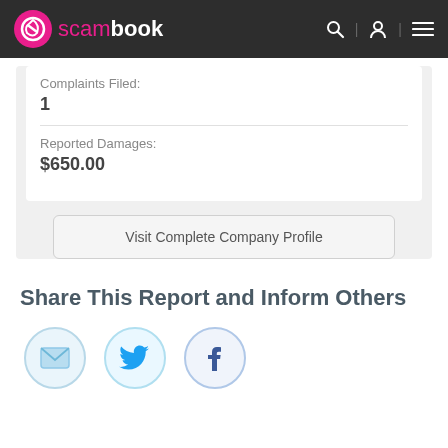scambook
Complaints Filed:
1
Reported Damages:
$650.00
Visit Complete Company Profile
Share This Report and Inform Others
[Figure (illustration): Three social share icons in circles: email envelope (light blue), Twitter bird (cyan), Facebook thumbs up (blue)]